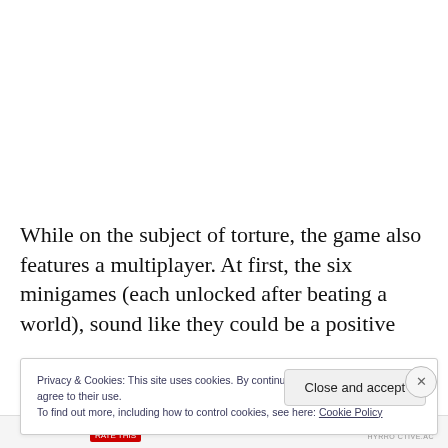While on the subject of torture, the game also features a multiplayer. At first, the six minigames (each unlocked after beating a world), sound like they could be a positive
Privacy & Cookies: This site uses cookies. By continuing to use this website, you agree to their use.
To find out more, including how to control cookies, see here: Cookie Policy
Close and accept